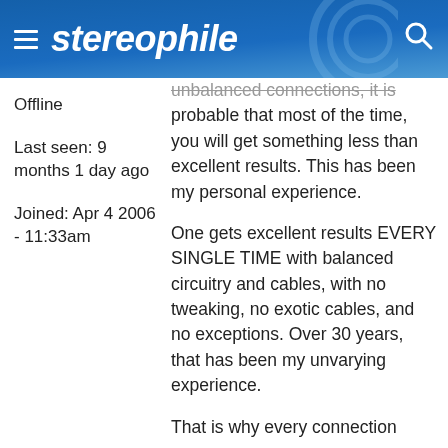stereophile
unbalanced connections, it is probable that most of the time, you will get something less than excellent results. This has been my personal experience.
Offline
Last seen: 9 months 1 day ago
Joined: Apr 4 2006 - 11:33am
One gets excellent results EVERY SINGLE TIME with balanced circuitry and cables, with no tweaking, no exotic cables, and no exceptions. Over 30 years, that has been my unvarying experience.
That is why every connection